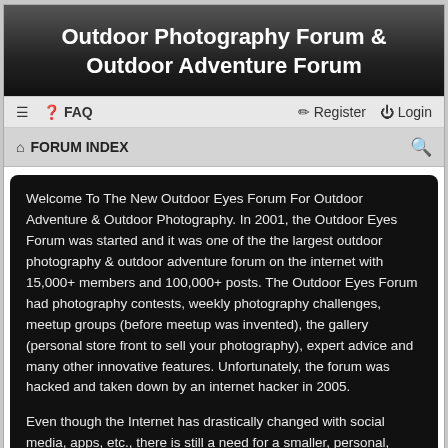Outdoor Photography Forum & Outdoor Adventure Forum
≡  FAQ    Register  Login
⌂ FORUM INDEX
Welcome To The New Outdoor Eyes Forum For Outdoor Adventure & Outdoor Photography. In 2001, the Outdoor Eyes Forum was started and it was one of the the largest outdoor photography & outdoor adventure forum on the internet with 15,000+ members and 100,000+ posts. The Outdoor Eyes Forum had photography contests, weekly photography challenges, meetup groups (before meetup was invented), the gallery (personal store front to sell your photography), expert advice and many other innovative features. Unfortunately, the forum was hacked and taken down by an internet hacker in 2005.
Even though the Internet has drastically changed with social media, apps, etc., there is still a need for a smaller, personal, innovative forum to help members interested in outdoor